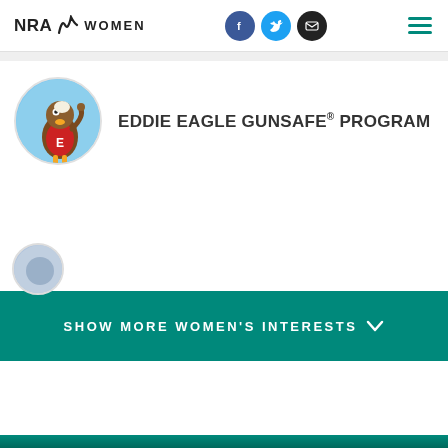NRA WOMEN
[Figure (logo): NRA Women logo with social media icons (Facebook, Twitter, Email) and hamburger menu in teal]
[Figure (illustration): Eddie Eagle mascot character - cartoon eagle in red jersey with 'E' on it, pointing upward, circular blue sky background]
EDDIE EAGLE GUNSAFE® PROGRAM
[Figure (illustration): Partially visible circular logo/icon at bottom of content area]
SHOW MORE WOMEN'S INTERESTS
Teal footer band